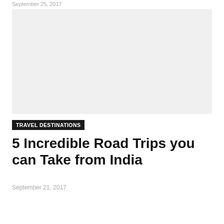September 25, 2017
[Figure (photo): Large image placeholder (light gray rectangle) representing a travel photo]
TRAVEL DESTINATIONS
5 Incredible Road Trips you can Take from India
September 21, 2017